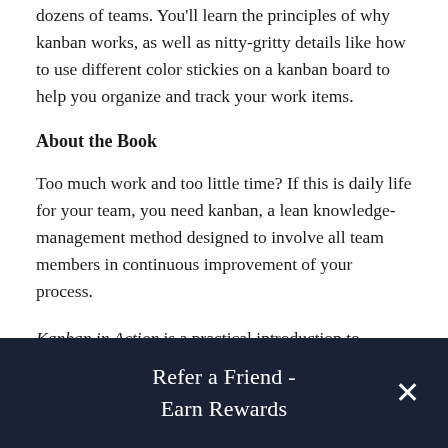dozens of teams. You'll learn the principles of why kanban works, as well as nitty-gritty details like how to use different color stickies on a kanban board to help you organize and track your work items.
About the Book
Too much work and too little time? If this is daily life for your team, you need kanban, a lean knowledge-management method designed to involve all team members in continuous improvement of your process.
Kanban in Action is a practical introduction to kanban. Written by two kanban coaches who have taught the method to dozens of teams, the book covers techniques for planning and forecasting
[Figure (other): Dark navy banner overlay with text 'Refer a Friend - Earn Rewards' and a close (X) button on the right]